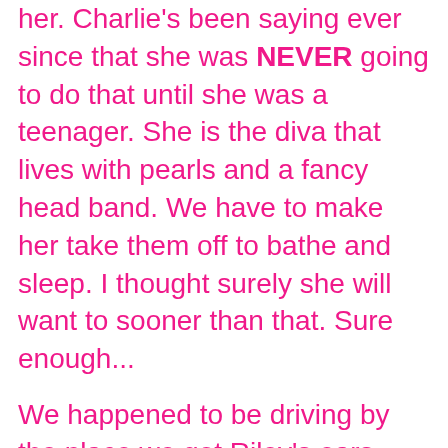her. Charlie's been saying ever since that she was NEVER going to do that until she was a teenager. She is the diva that lives with pearls and a fancy head band. We have to make her take them off to bathe and sleep. I thought surely she will want to sooner than that. Sure enough...
We happened to be driving by the place we got Riley's ears pierced at this past Tuesday. It isn't our normal route and I certainly didn't expect her to say yes or I wouldn't have asked. We were just driving along and I jokingly said, "Hey Charlie we are about to pass the place Riley got her ears pierced. Want to get yours done? Your birthday is in just a couple of days." She did't miss a beat and said, "Sure mom. Let's do it." Wait...What? She wasn't supposed to say that. I mean, I hadn't even talked to Denis about it. I had NO idea she would actually say yes. Ummmmm, ok. We pulled in and the place had closed down. I called the other location and they couldn't do it until Friday. I thought ok, she will change her mind by then. We already got her a